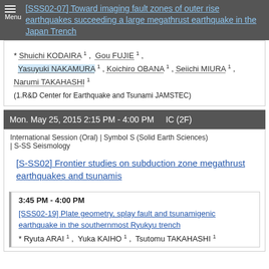[SSS02-07] Toward imaging fault zones of outer rise earthquakes succeeding a large megathrust earthquake in the Japan Trench
* Shuichi KODAIRA 1, Gou FUJIE 1, Yasuyuki NAKAMURA 1, Koichiro OBANA 1, Seiichi MIURA 1, Narumi TAKAHASHI 1
(1.R&D Center for Earthquake and Tsunami JAMSTEC)
Mon. May 25, 2015 2:15 PM - 4:00 PM   IC (2F)
International Session (Oral) | Symbol S (Solid Earth Sciences) | S-SS Seismology
[S-SS02] Frontier studies on subduction zone megathrust earthquakes and tsunamis
3:45 PM - 4:00 PM
[SSS02-19] Plate geometry, splay fault and tsunamigenic earthquake in the southernmost Ryukyu trench
* Ryuta ARAI 1, Yuka KAIHO 1, Tsutomu TAKAHASHI 1